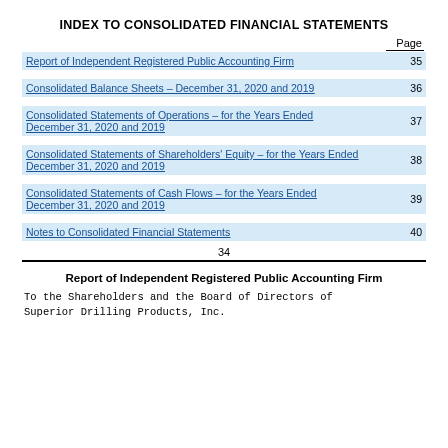INDEX TO CONSOLIDATED FINANCIAL STATEMENTS
|  | Page |
| --- | --- |
| Report of Independent Registered Public Accounting Firm | 35 |
| Consolidated Balance Sheets – December 31, 2020 and 2019 | 36 |
| Consolidated Statements of Operations – for the Years Ended December 31, 2020 and 2019 | 37 |
| Consolidated Statements of Shareholders' Equity – for the Years Ended December 31, 2020 and 2019 | 38 |
| Consolidated Statements of Cash Flows – for the Years Ended December 31, 2020 and 2019 | 39 |
| Notes to Consolidated Financial Statements | 40 |
34
Report of Independent Registered Public Accounting Firm
To the Shareholders and the Board of Directors of
Superior Drilling Products, Inc.